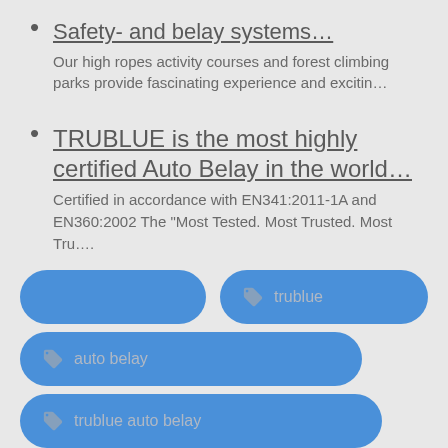Safety- and belay systems...
Our high ropes activity courses and forest climbing parks provide fascinating experience and excitin...
TRUBLUE is the most highly certified Auto Belay in the world...
Certified in accordance with EN341:2011-1A and EN360:2002 The “Most Tested. Most Trusted. Most Tru....
[Figure (infographic): Four blue pill-shaped tag buttons: one wide empty button, one labeled 'trublue' with tag icon, one labeled 'auto belay' with tag icon, one labeled 'trublue auto belay' with tag icon (partially cut off at bottom)]